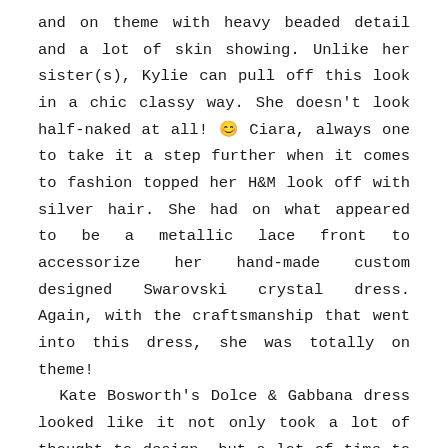and on theme with heavy beaded detail and a lot of skin showing. Unlike her sister(s), Kylie can pull off this look in a chic classy way. She doesn't look half-naked at all! 🙂 Ciara, always one to take it a step further when it comes to fashion topped her H&M look off with silver hair. She had on what appeared to be a metallic lace front to accessorize her hand-made custom designed Swarovski crystal dress. Again, with the craftsmanship that went into this dress, she was totally on theme!  Kate Bosworth's Dolce & Gabbana dress looked like it not only took a lot of thought to design, but a lot of time to put together. The dress starts with a jewel encrusted bodice and transcends over a light yellow waist-line into a lovely silky a-line skirt with fabric applique. Very different and very artsy. Zoe Saldana's